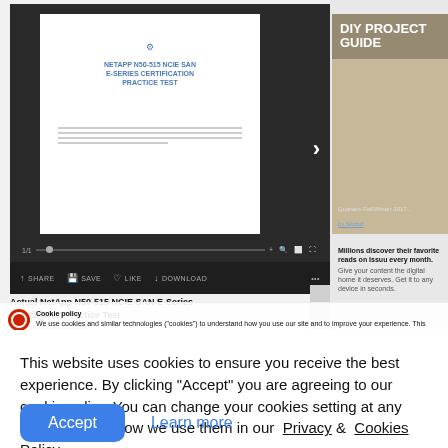[Figure (screenshot): Screenshot of a Scribd document viewer showing a NetApp N50-515 NCIE SAN E-Series Certification Practice Test document, with a DIY Project Guide advertisement on the right sidebar and document metadata below.]
This website uses cookies to ensure you receive the best experience. By clicking "Accept" you are agreeing to our cookie policy. You can change your cookies setting at any time and read how we use them in our Privacy & Cookies Policy.
Accept
Learn more